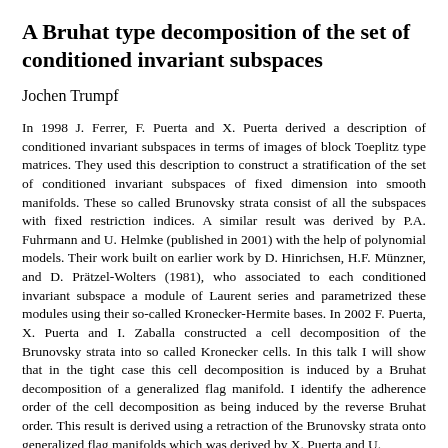A Bruhat type decomposition of the set of conditioned invariant subspaces
Jochen Trumpf
In 1998 J. Ferrer, F. Puerta and X. Puerta derived a description of conditioned invariant subspaces in terms of images of block Toeplitz type matrices. They used this description to construct a stratification of the set of conditioned invariant subspaces of fixed dimension into smooth manifolds. These so called Brunovsky strata consist of all the subspaces with fixed restriction indices. A similar result was derived by P.A. Fuhrmann and U. Helmke (published in 2001) with the help of polynomial models. Their work built on earlier work by D. Hinrichsen, H.F. Münzner, and D. Prätzel-Wolters (1981), who associated to each conditioned invariant subspace a module of Laurent series and parametrized these modules using their so-called Kronecker-Hermite bases. In 2002 F. Puerta, X. Puerta and I. Zaballa constructed a cell decomposition of the Brunovsky strata into so called Kronecker cells. In this talk I will show that in the tight case this cell decomposition is induced by a Bruhat decomposition of a generalized flag manifold. I identify the adherence order of the cell decomposition as being induced by the reverse Bruhat order. This result is derived using a retraction of the Brunovsky strata onto generalized flag manifolds which was derived by X. Puerta and U.